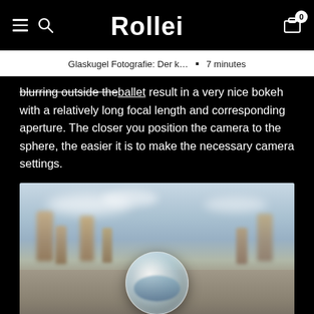Rollei (logo) — navigation header with hamburger menu, search icon, Rollei logo, cart icon with badge 0
Glaskugel Fotografie: Der k…  ▪  7 minutes
blurring outside the ballet result in a very nice bokeh with a relatively long focal length and corresponding aperture. The closer you position the camera to the sphere, the easier it is to make the necessary camera settings.
[Figure (photo): A glass crystal ball placed on a surface outdoors, with blurred rocky formations and cloudy sky in the background. The ball reflects the landscape inside it.]